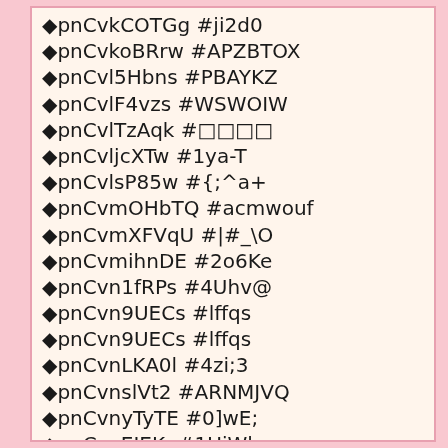◆pnCvkCOTGg  #ji2d0
◆pnCvkoBRrw  #APZBTOX
◆pnCvl5Hbns  #PBAYKZ
◆pnCvlF4vzs  #WSWOIW
◆pnCvlTzAqk  #□□□□
◆pnCvljcXTw  #1ya-T
◆pnCvlsP85w  #{;^a+
◆pnCvmOHbTQ  #acmwouf
◆pnCvmXFVqU  #|#_\O
◆pnCvmihnDE  #2o6Ke
◆pnCvn1fRPs  #4Uhv@
◆pnCvn9UECs  #lffqs
◆pnCvn9UECs  #lffqs
◆pnCvnLKA0l  #4zi;3
◆pnCvnslVt2  #ARNMJVQ
◆pnCvnyTyTE  #0]wE;
◆pnCvoEJEK.  #1UiWl
◆pnCvoLOZ5c  #%D@]S
◆pnCvoZuD6o  #2QwAU